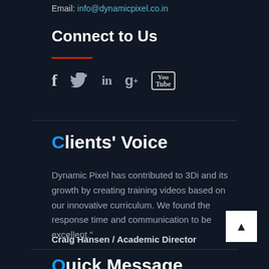Email: info@dynamicpixel.co.in
Connect to Us
[Figure (infographic): Social media icons: Facebook, Twitter, LinkedIn, Google+, YouTube]
Clients' Voice
Dynamic Pixel has contributed to 3Di and its growth by creating training videos based on our innovative curriculum. We found the response time and communication to be excellent."
Craig Hansen / Academic Director
Quick Message